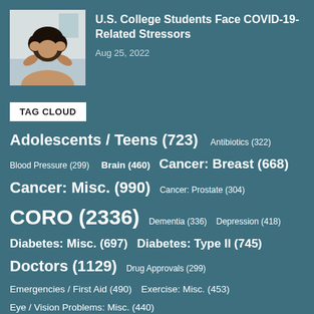[Figure (photo): Person with hands on head, appearing stressed]
U.S. College Students Face COVID-19-Related Stressors
Aug 25, 2022
TAG CLOUD
Adolescents / Teens (723)
Antibiotics (322)
Blood Pressure (299)
Brain (460)
Cancer: Breast (668)
Cancer: Misc. (990)
Cancer: Prostate (304)
CORO (2336)
Dementia (336)
Depression (418)
Diabetes: Misc. (697)
Diabetes: Type II (745)
Doctors (1129)
Drug Approvals (299)
Emergencies / First Aid (490)
Exercise: Misc. (453)
Eye / Vision Problems: Misc. (440)